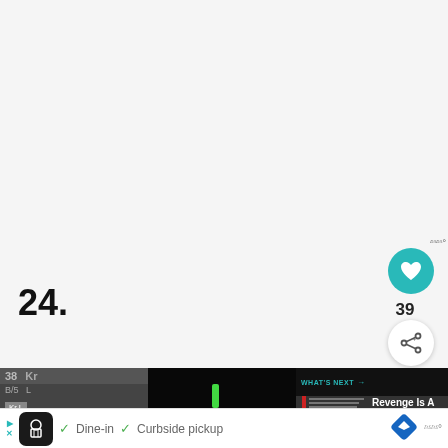[Figure (screenshot): Light grey background top area of a web/app page]
24.
[Figure (screenshot): Social interaction buttons: teal heart icon with sound wave, count 39, and share button]
[Figure (screenshot): Photo strip showing lockers on the left, dark scene in the middle with green and white lights, and a WHAT'S NEXT panel on the right reading 'Revenge Is A Dish Best...']
[Figure (screenshot): Partial advertisement banner at bottom: restaurant ad with chef icon, Dine-in, Curbside pickup options]